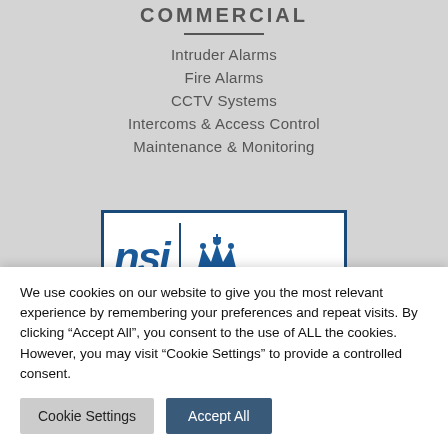COMMERCIAL
Intruder Alarms
Fire Alarms
CCTV Systems
Intercoms & Access Control
Maintenance & Monitoring
[Figure (logo): NSI logo with crown symbol in a bordered box]
We use cookies on our website to give you the most relevant experience by remembering your preferences and repeat visits. By clicking “Accept All”, you consent to the use of ALL the cookies. However, you may visit “Cookie Settings” to provide a controlled consent.
Cookie Settings | Accept All